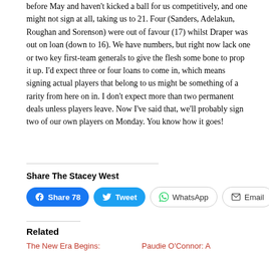before May and haven't kicked a ball for us competitively, and one might not sign at all, taking us to 21. Four (Sanders, Adelakun, Roughan and Sorenson) were out of favour (17) whilst Draper was out on loan (down to 16). We have numbers, but right now lack one or two key first-team generals to give the flesh some bone to prop it up. I'd expect three or four loans to come in, which means signing actual players that belong to us might be something of a rarity from here on in. I don't expect more than two permanent deals unless players leave. Now I've said that, we'll probably sign two of our own players on Monday. You know how it goes!
Share The Stacey West
Facebook Share 78 | Tweet | WhatsApp | Email
Related
The New Era Begins: ... | Paudie O'Connor: A ...